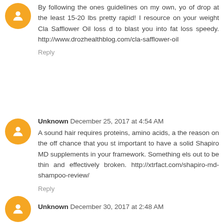By following the ones guidelines on my own, you can of drop at the least 15-20 lbs pretty rapid! I resource on your weight Cla Safflower Oil loss to blast you into fat loss speedy. http://www.drozhealthblog.com/cla-safflower-oil
Reply
Unknown December 25, 2017 at 4:54 AM
A sound hair requires proteins, amino acids, the reason on the off chance that you s important to have a solid Shapiro MD supplements in your framework. Something el out to be thin and effectively broken. http://xtrfact.com/shapiro-md-shampoo-review/
Reply
Unknown December 30, 2017 at 2:48 AM